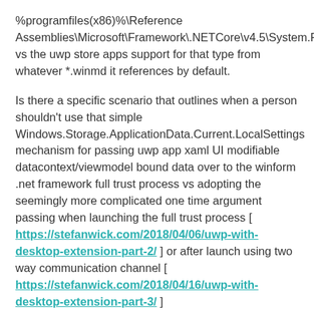%programfiles(x86)%\Reference Assemblies\Microsoft\Framework\.NETCore\v4.5\System.Runtime.WindowsRuntime.dll vs the uwp store apps support for that type from whatever *.winmd it references by default.
Is there a specific scenario that outlines when a person shouldn't use that simple Windows.Storage.ApplicationData.Current.LocalSettings mechanism for passing uwp app xaml UI modifiable datacontext/viewmodel bound data over to the winform .net framework full trust process vs adopting the seemingly more complicated one time argument passing when launching the full trust process [ https://stefanwick.com/2018/04/06/uwp-with-desktop-extension-part-2/ ] or after launch using two way communication channel [ https://stefanwick.com/2018/04/16/uwp-with-desktop-extension-part-3/ ]